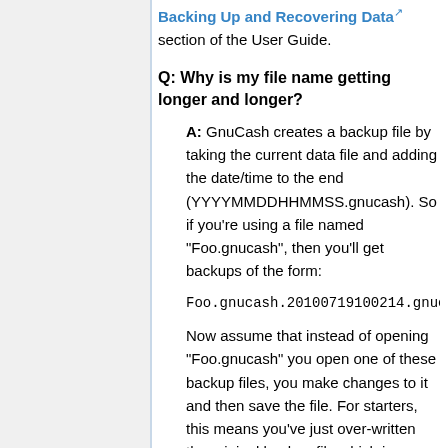Backing Up and Recovering Data section of the User Guide.
Q: Why is my file name getting longer and longer?
A: GnuCash creates a backup file by taking the current data file and adding the date/time to the end (YYYYMMDDHHMMSS.gnucash). So if you're using a file named "Foo.gnucash", then you'll get backups of the form:
Foo.gnucash.20100719100214.gnucash
Now assume that instead of opening "Foo.gnucash" you open one of these backup files, you make changes to it and then save the file. For starters, this means you've just over-written the original backup file which is always a bad idea. Backups